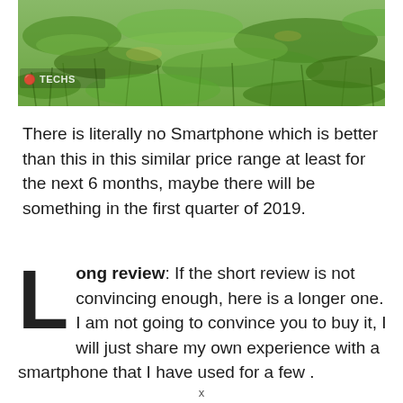[Figure (photo): Photograph of green grass/lawn, close-up view. A watermark reading 'E TECHS' or similar is visible in the lower left of the image.]
There is literally no Smartphone which is better than this in this similar price range at least for the next 6 months, maybe there will be something in the first quarter of 2019.
Long review: If the short review is not convincing enough, here is a longer one. I am not going to convince you to buy it, I will just share my own experience with a smartphone that I have used for a few .
x